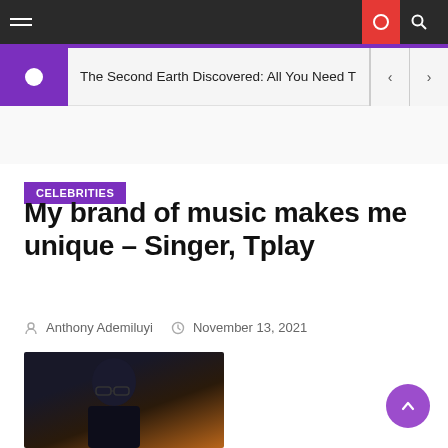The Second Earth Discovered: All You Need T...
CELEBRITIES
My brand of music makes me unique – Singer, Tplay
Anthony Ademiluyi   November 13, 2021
[Figure (photo): Portrait photo of singer Tplay, a man wearing glasses and a dark outfit, photographed against a dark and amber background]